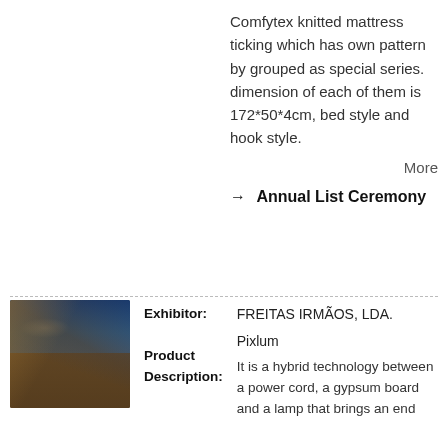Comfytex knitted mattress ticking which has own pattern by grouped as special series. dimension of each of them is 172*50*4cm, bed style and hook style.
More
→ Annual List Ceremony
[Figure (photo): Photo of an outdoor deck or terrace with evening lighting, a pool visible, and a scenic mountain/sky backdrop at dusk.]
Exhibitor: FREITAS IRMÃOS, LDA.
Product Description: Pixlum
It is a hybrid technology between a power cord, a gypsum board and a lamp that brings an end